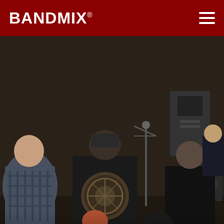BANDMIX®
[Figure (photo): Band rehearsal photo seen from behind, multiple musicians with instruments in a studio/rehearsal space]
TROY-Soundhaus
CLAYTON, 63105
Vocalist, Trumpet, Saxophone, Keyboard, Piano
[Figure (photo): Close-up blurred photo of guitar/instrument strings and body]